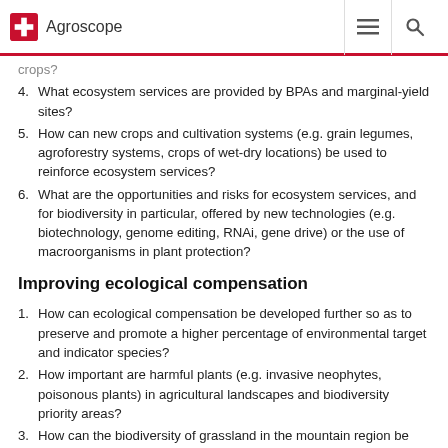Agroscope
crops?
4. What ecosystem services are provided by BPAs and marginal-yield sites?
5. How can new crops and cultivation systems (e.g. grain legumes, agroforestry systems, crops of wet-dry locations) be used to reinforce ecosystem services?
6. What are the opportunities and risks for ecosystem services, and for biodiversity in particular, offered by new technologies (e.g. biotechnology, genome editing, RNAi, gene drive) or the use of macroorganisms in plant protection?
Improving ecological compensation
1. How can ecological compensation be developed further so as to preserve and promote a higher percentage of environmental target and indicator species?
2. How important are harmful plants (e.g. invasive neophytes, poisonous plants) in agricultural landscapes and biodiversity priority areas?
3. How can the biodiversity of grassland in the mountain region be preserved, and what are the consequences of new management